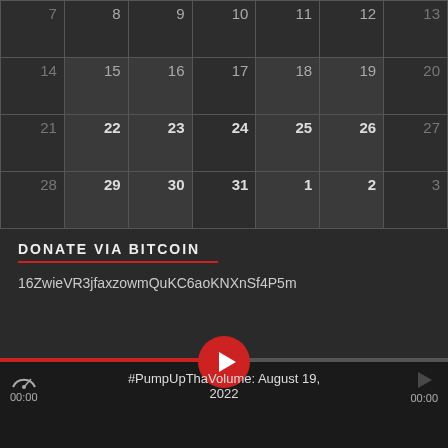| 7 | 8 | 9 | 10 | 11 | 12 | 13 |
| 14 | 15 | 16 | 17 | 18 | 19 | 20 |
| 21 | 22 | 23 | 24 | 25 | 26 | 27 |
| 28 | 29 | 30 | 31 | 1 | 2 | 3 |
DONATE VIA BITCOIN
16ZwieVR3jfaxzowmQuKC6aoKNXnSf4P5m
#PumpUpThaVolume: August 19, 2022